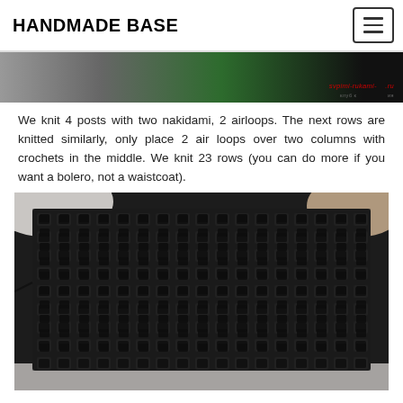HANDMADE BASE
[Figure (photo): Top portion of a photo showing green knitting needles and yarn against a dark background, with a watermark in red cursive text.]
We knit 4 posts with two nakidami, 2 airloops. The next rows are knitted similarly, only place 2 air loops over two columns with crochets in the middle. We knit 23 rows (you can do more if you want a bolero, not a waistcoat).
[Figure (photo): A black crocheted mesh fabric piece laid flat on a white surface, showing an open lace pattern with regular square holes throughout.]